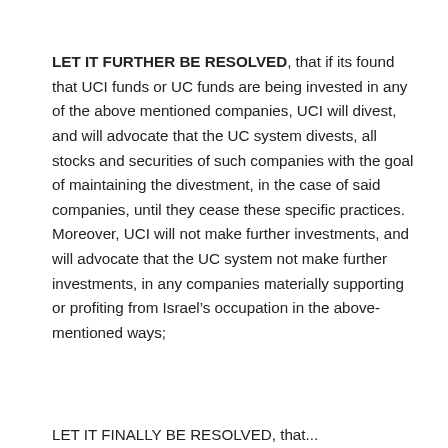LET IT FURTHER BE RESOLVED, that if its found that UCI funds or UC funds are being invested in any of the above mentioned companies, UCI will divest, and will advocate that the UC system divests, all stocks and securities of such companies with the goal of maintaining the divestment, in the case of said companies, until they cease these specific practices. Moreover, UCI will not make further investments, and will advocate that the UC system not make further investments, in any companies materially supporting or profiting from Israel’s occupation in the above-mentioned ways;
LET IT FINALLY BE RESOLVED, that...